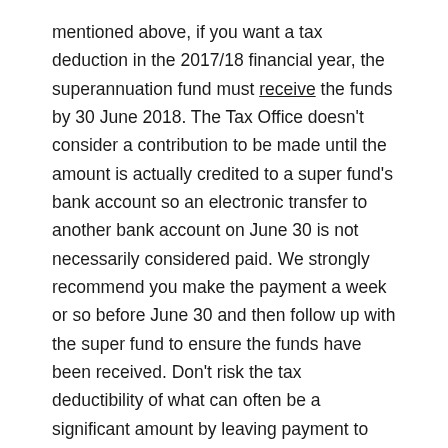mentioned above, if you want a tax deduction in the 2017/18 financial year, the superannuation fund must receive the funds by 30 June 2018. The Tax Office doesn't consider a contribution to be made until the amount is actually credited to a super fund's bank account so an electronic transfer to another bank account on June 30 is not necessarily considered paid. We strongly recommend you make the payment a week or so before June 30 and then follow up with the super fund to ensure the funds have been received. Don't risk the tax deductibility of what can often be a significant amount by leaving payment to the last minute.
Write-Off Bad Debts – if you operate on an accruals